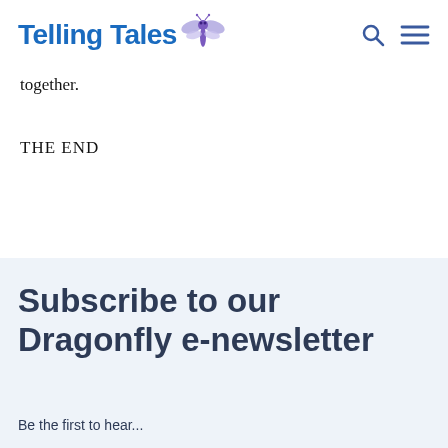Telling Tales [logo with dragonfly]
together.
THE END
Subscribe to our Dragonfly e-newsletter
Be the first to hear...